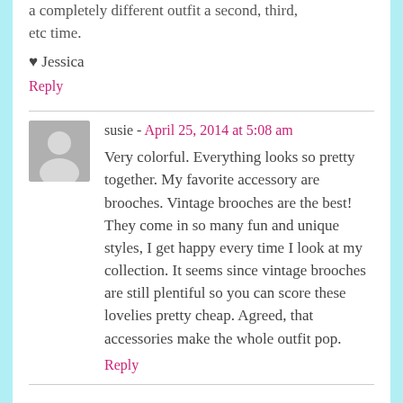a completely different outfit a second, third, etc time.
♥ Jessica
Reply
susie - April 25, 2014 at 5:08 am
Very colorful. Everything looks so pretty together. My favorite accessory are brooches. Vintage brooches are the best! They come in so many fun and unique styles, I get happy every time I look at my collection. It seems since vintage brooches are still plentiful so you can score these lovelies pretty cheap. Agreed, that accessories make the whole outfit pop.
Reply